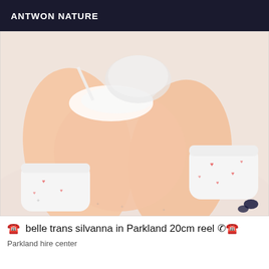ANTWON NATURE
[Figure (photo): Close-up photo of a person's legs and torso wearing white lingerie and white socks with red heart patterns, lying on a white textured surface.]
☎️‍ belle trans silvanna in Parkland 20cm reel ☎️
Parkland hire center